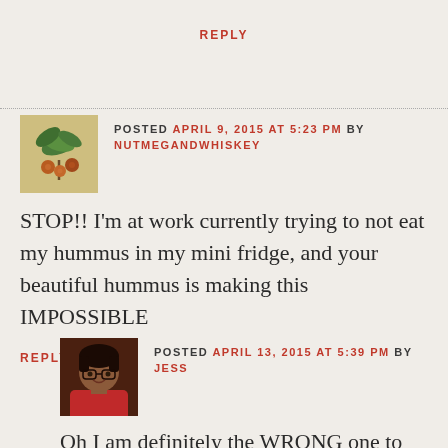REPLY
POSTED APRIL 9, 2015 AT 5:23 PM BY NUTMEGANDWHISKEY
[Figure (photo): Avatar image of a plant/botanical illustration with leaves and berries on a tan background]
STOP!! I'm at work currently trying to not eat my hummus in my mini fridge, and your beautiful hummus is making this IMPOSSIBLE
REPLY
[Figure (photo): Avatar photo of a woman with glasses wearing a red top]
POSTED APRIL 13, 2015 AT 5:39 PM BY JESS
Oh I am definitely the WRONG one to talk to about self control